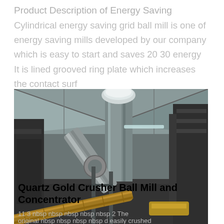Product Description of Energy Saving Cylindrical energy saving grid ball mill is one of energy saving mills developed by our company which is easy to start and saves 20 30 energy  It is lined grooved ring plate which increases the contact surf
[Figure (photo): Industrial photo of a ball mill / concentrator facility showing large vertical pipes, diagonal ducting, conveyor belt, and heavy machinery in a factory setting. Overlaid text reads 'Quartz Gold Crusher Ball Mill and Concentrator'.]
Quartz Gold Crusher Ball Mill and Concentrator
11 3  nbsp  nbsp nbsp nbsp  nbsp  nbsp 2 The original  nbsp  nbsp  nbsp  nbsp  nbsp  nbsp d easily crushed